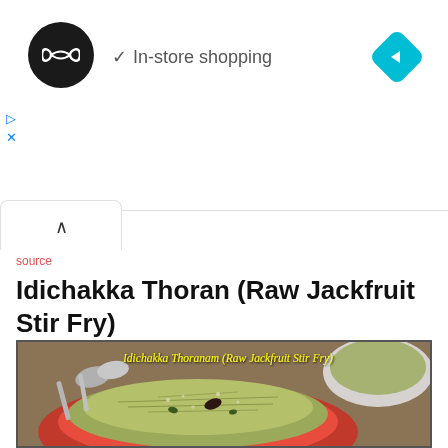[Figure (screenshot): Ad banner showing a black circular logo with infinity symbol, checkmark with 'In-store shopping' text, and a blue diamond navigation icon on the right. Below are play and close controls.]
source
Idichakka Thoran (Raw Jackfruit Stir Fry)
[Figure (photo): Food photo of Idichakka Thoranam (Raw Jackfruit Stir Fry) showing a red bowl filled with shredded green jackfruit stir fry with coconut, curry leaves and dried red chilies, with spoons and another bowl in the background. Yellow italic text overlay reads: Idichakka Thoranam (Raw Jackfruit Stir Fry)]